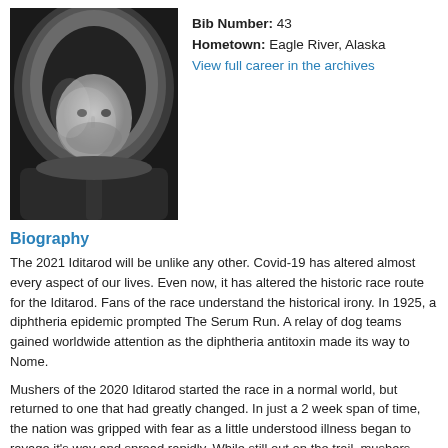[Figure (photo): Black and white portrait photo of a man wearing a fur-lined parka hood, looking directly at the camera]
Bib Number: 43
Hometown: Eagle River, Alaska
View full career in the archives
Biography
The 2021 Iditarod will be unlike any other. Covid-19 has altered almost every aspect of our lives. Even now, it has altered the historic race route for the Iditarod. Fans of the race understand the historical irony. In 1925, a diphtheria epidemic prompted The Serum Run. A relay of dog teams gained worldwide attention as the diphtheria antitoxin made its way to Nome.
Mushers of the 2020 Iditarod started the race in a normal world, but returned to one that had greatly changed. In just a 2 week span of time, the nation was gripped with fear as a little understood illness began to ravage it's way and spread rapidly. While still out on the trail, mushers were learning that other major sporting events were being halted. Then schools started